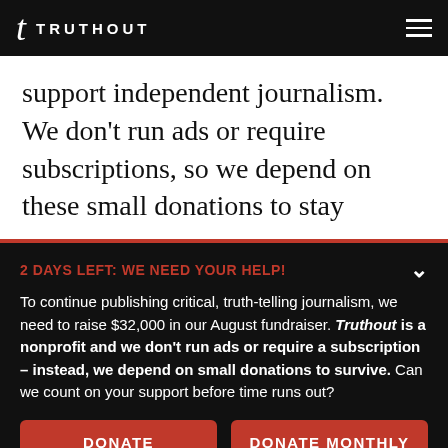TRUTHOUT
support independent journalism. We don't run ads or require subscriptions, so we depend on these small donations to stay
2 DAYS LEFT: WE NEED YOUR HELP!
To continue publishing critical, truth-telling journalism, we need to raise $32,000 in our August fundraiser. Truthout is a nonprofit and we don't run ads or require a subscription – instead, we depend on small donations to survive. Can we count on your support before time runs out?
DONATE
DONATE MONTHLY